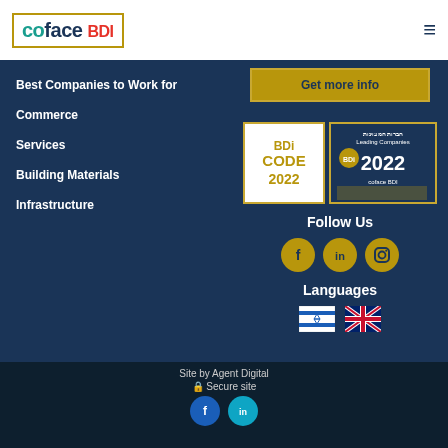[Figure (logo): Coface BDI logo in a gold border box, top left]
Best Companies to Work for
Commerce
Services
Building Materials
Infrastructure
[Figure (other): Get more info gold button]
[Figure (other): BDI Code 2022 badge and Leading Companies 2022 Coface BDI badge]
Follow Us
[Figure (other): Social media icons: Facebook, LinkedIn, Instagram in gold circles]
Languages
[Figure (other): Israeli flag and UK flag for language selection]
Site by Agent Digital
Secure site
[Figure (other): Footer Facebook and LinkedIn social icons]